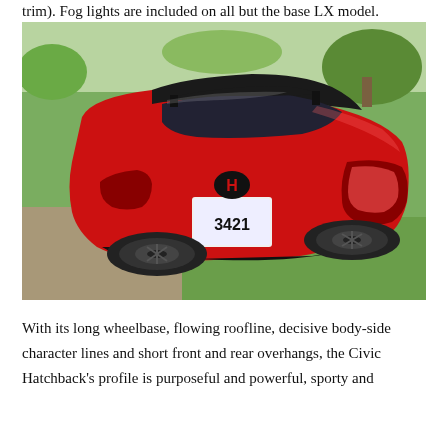trim). Fog lights are included on all but the base LX model.
[Figure (photo): Rear three-quarter view of a red Honda Civic Hatchback parked on gravel near a grassy area with trees in the background. The car shows its sporty rear design with dual exhaust tips, black spoiler, and sport wheels.]
With its long wheelbase, flowing roofline, decisive body-side character lines and short front and rear overhangs, the Civic Hatchback's profile is purposeful and powerful, sporty and